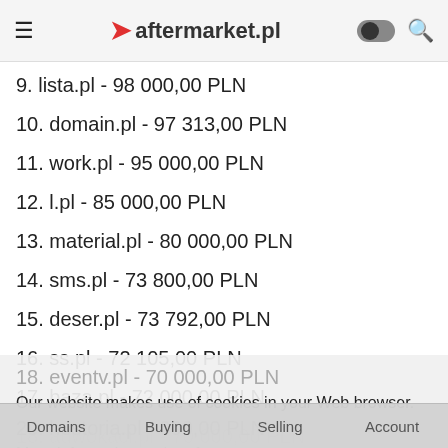aftermarket.pl
9. lista.pl - 98 000,00 PLN
10. domain.pl - 97 313,00 PLN
11. work.pl - 95 000,00 PLN
12. l.pl - 85 000,00 PLN
13. material.pl - 80 000,00 PLN
14. sms.pl - 73 800,00 PLN
15. deser.pl - 73 792,00 PLN
16. ss.pl - 72 105,00 PLN
17. baza.pl - 72 000,00 PLN
18. adwokaci.pl - 70 000,00 PLN
Our website makes use of cookies in your Web browser. More information and preferences »
I understand, close this info
Domains | Buying | Selling | Account